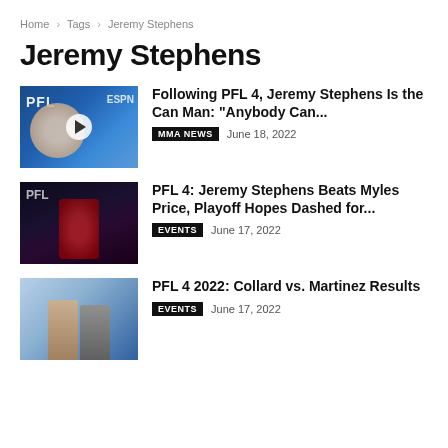Home > Tags > Jeremy Stephens
Jeremy Stephens
[Figure (photo): PFL/ESPN thumbnail with fighter in white shirt, play button overlay]
Following PFL 4, Jeremy Stephens Is the Can Man: “Anybody Can...
MMA NEWS   June 18, 2022
[Figure (photo): Dark arena thumbnail with fighter in red shirt raising arm]
PFL 4: Jeremy Stephens Beats Myles Price, Playoff Hopes Dashed for...
EVENTS   June 17, 2022
[Figure (photo): Weigh-in thumbnail with two fighters facing off]
PFL 4 2022: Collard vs. Martinez Results
EVENTS   June 17, 2022